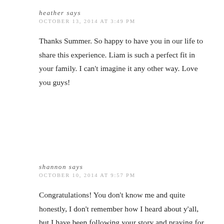heather says
OCTOBER 13, 2014 AT 3:49 PM
Thanks Summer. So happy to have you in our life to share this experience. Liam is such a perfect fit in your family. I can't imagine it any other way. Love you guys!
shannon says
OCTOBER 10, 2014 AT 9:57 PM
Congratulations! You don't know me and quite honestly, I don't remember how I heard about y'all, but I have been following your story and praying for sweet Tucker's health